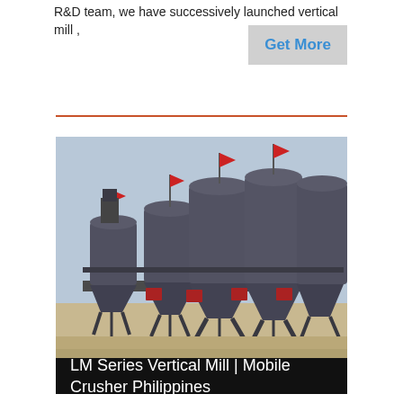R&D team, we have successively launched vertical mill ,
Get More
[Figure (photo): Industrial photo of multiple large dark grey conical storage silos mounted on steel frames, outdoors, with red flags on top, in an industrial facility yard.]
LM Series Vertical Mill | Mobile Crusher Philippines